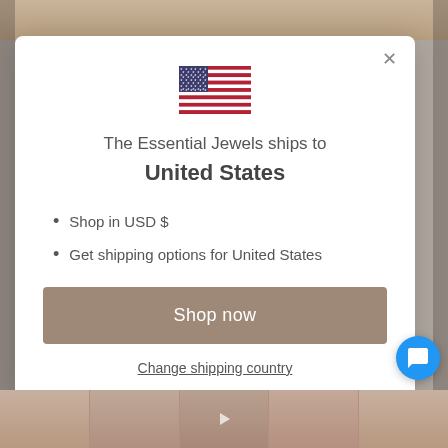[Figure (screenshot): US flag emoji centered in modal dialog]
The Essential Jewels ships to United States
Shop in USD $
Get shipping options for United States
Shop now
Change shipping country